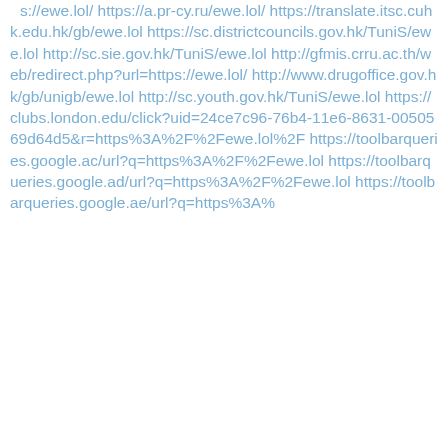s://ewe.lol/ https://a.pr-cy.ru/ewe.lol/ https://translate.itsc.cuhk.edu.hk/gb/ewe.lol https://sc.districtcouncils.gov.hk/TuniS/ewe.lol http://sc.sie.gov.hk/TuniS/ewe.lol http://gfmis.crru.ac.th/web/redirect.php?url=https://ewe.lol/ http://www.drugoffice.gov.hk/gb/unigb/ewe.lol http://sc.youth.gov.hk/TuniS/ewe.lol https://clubs.london.edu/click?uid=24ce7c96-76b4-11e6-8631-0050569d64d5&r=https%3A%2F%2Fewe.lol%2F https://toolbarqueries.google.ac/url?q=https%3A%2F%2Fewe.lol https://toolbarqueries.google.ad/url?q=https%3A%2F%2Fewe.lol https://toolbarqueries.google.ae/url?q=https%3A%